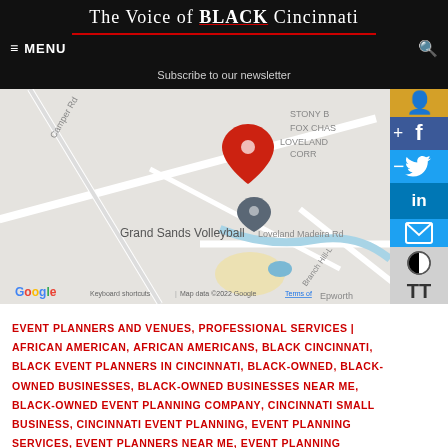The Voice of BLACK Cincinnati
≡ MENU    Subscribe to our newsletter    🔍
[Figure (map): Google map showing Grand Sands Volleyball location near Loveland Madeira Rd, with a red pin marker and a grey pin, showing areas including Stony B, Fox Chase, Loveland Corr. Map data ©2022 Google. Keyboard shortcuts shown.]
EVENT PLANNERS AND VENUES, PROFESSIONAL SERVICES | AFRICAN AMERICAN, AFRICAN AMERICANS, BLACK CINCINNATI, BLACK EVENT PLANNERS IN CINCINNATI, BLACK-OWNED, BLACK-OWNED BUSINESSES, BLACK-OWNED BUSINESSES NEAR ME, BLACK-OWNED EVENT PLANNING COMPANY, CINCINNATI SMALL BUSINESS, CINCINNATI EVENT PLANNING, EVENT PLANNING SERVICES, EVENT PLANNERS NEAR ME, EVENT PLANNING COMPANIES NEAR ME, HAVE A EPIPHANY EVENT PLANNING, EVENT PLANNING